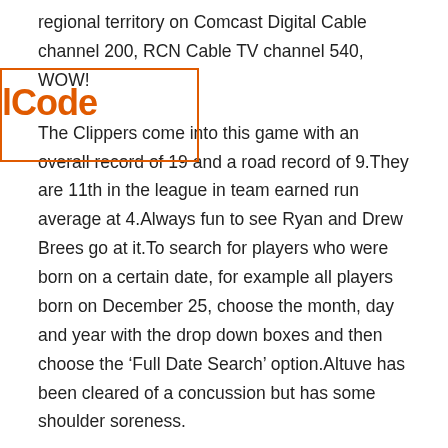regional territory on Comcast Digital Cable channel 200, RCN Cable TV channel 540, WOW!
[Figure (other): Watermark overlay with orange border and text 'lCode']
The Clippers come into this game with an overall record of 19 and a road record of 9.They are 11th in the league in team earned run average at 4.Always fun to see Ryan and Drew Brees go at it.To search for players who were born on a certain date, for example all players born on December 25, choose the month, day and year with the drop down boxes and then choose the ‘Full Date Search’ option.Altuve has been cleared of a concussion but has some shoulder soreness.
I told him that was the biggest thing – to make sure that they see you love the game.Fast Sign up with Instant Access Click Here One E-mail A Week Is All You Need!Of those first downs, 8 came on the ground while 8 came